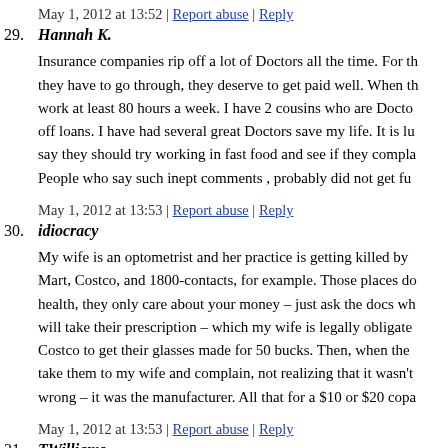May 1, 2012 at 13:52 | Report abuse | Reply
29. Hannah K.
Insurance companies rip off a lot of Doctors all the time. For th... they have to go through, they deserve to get paid well. When th... work at least 80 hours a week. I have 2 cousins who are Docto... off loans. I have had several great Doctors save my life. It is lu... say they should try working in fast food and see if they compla... People who say such inept comments , probably did not get fu...
May 1, 2012 at 13:53 | Report abuse | Reply
30. idiocracy
My wife is an optometrist and her practice is getting killed by ... Mart, Costco, and 1800-contacts, for example. Those places do... health, they only care about your money – just ask the docs wh... will take their prescription – which my wife is legally obligate... Costco to get their glasses made for 50 bucks. Then, when the... take them to my wife and complain, not realizing that it wasn't... wrong – it was the manufacturer. All that for a $10 or $20 copa...
May 1, 2012 at 13:53 | Report abuse | Reply
31. TWilliams
Regarding "Dave" in the article. Why would the insurance con...